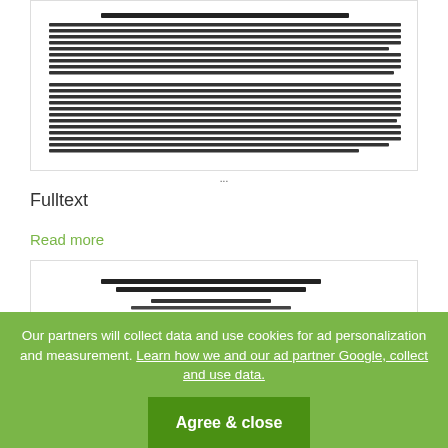[Figure (screenshot): Thumbnail of a scientific article abstract text, showing dense small-font paragraphs about optimization problems for seepage/drainage structures]
...
Fulltext
Read more
[Figure (screenshot): Thumbnail of a second scientific paper: 'Seven Tools for New Product Planning': Powerful Tools for Kansei Engineering by Suraji Yamamoto, Waseda Business School, Graduate School of Commerce, Waseda University, Tokyo, Japan. Abstract section visible below.]
Our partners will collect data and use cookies for ad personalization and measurement. Learn how we and our ad partner Google, collect and use data.
Agree & close